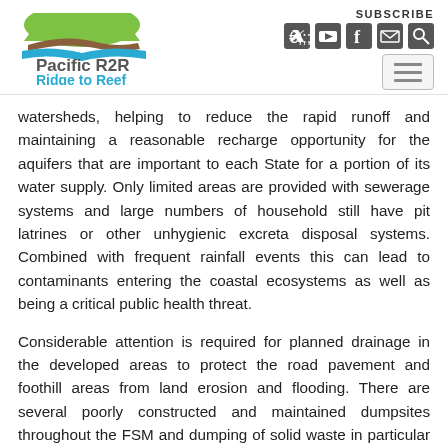Pacific R2R Ridge to Reef — SUBSCRIBE header with social icons
watersheds, helping to reduce the rapid runoff and maintaining a reasonable recharge opportunity for the aquifers that are important to each State for a portion of its water supply. Only limited areas are provided with sewerage systems and large numbers of household still have pit latrines or other unhygienic excreta disposal systems. Combined with frequent rainfall events this can lead to contaminants entering the coastal ecosystems as well as being a critical public health threat.
Considerable attention is required for planned drainage in the developed areas to protect the road pavement and foothill areas from land erosion and flooding. There are several poorly constructed and maintained dumpsites throughout the FSM and dumping of solid waste in particular human excreta is considered